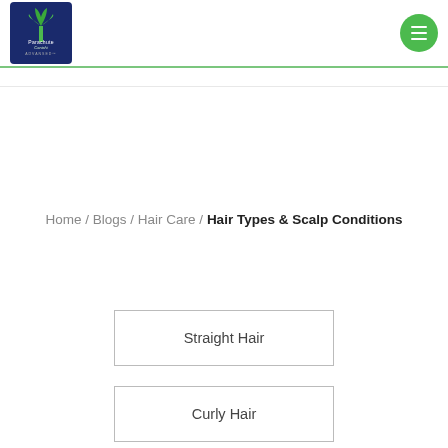Parachute Advansed logo and navigation menu
Home / Blogs / Hair Care / Hair Types & Scalp Conditions
Straight Hair
Curly Hair